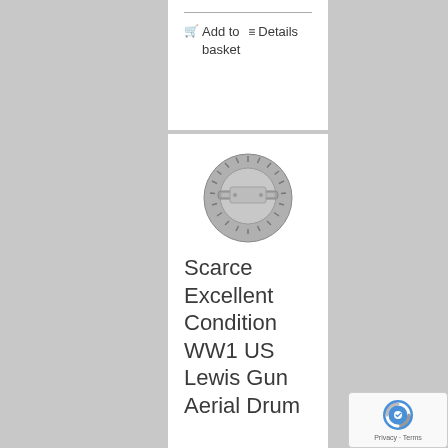Add to basket  Details
[Figure (photo): Circular metal badge/coin showing back side with pin mechanism and ridged sunburst edge — WW1 US Lewis Gun Aerial Drum badge]
Scarce Excellent Condition WW1 US Lewis Gun Aerial Drum